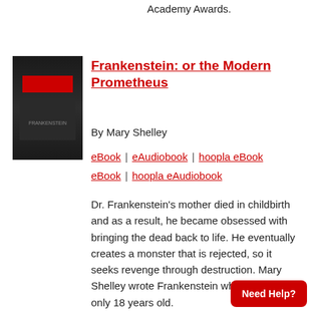Academy Awards.
[Figure (photo): Book cover of Frankenstein: or the Modern Prometheus — dark figure in suit with red bar obscuring eyes]
Frankenstein: or the Modern Prometheus
By Mary Shelley
eBook | eAudiobook | hoopla eBook | hoopla eAudiobook
Dr. Frankenstein's mother died in childbirth and as a result, he became obsessed with bringing the dead back to life. He eventually creates a monster that is rejected, so it seeks revenge through destruction. Mary Shelley wrote Frankenstein when she was only 18 years old.